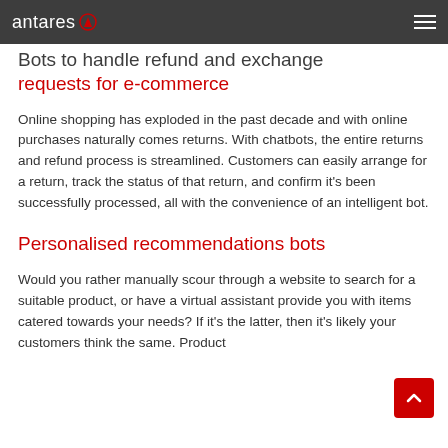antares [logo]
Bots to handle refund and exchange requests for e-commerce
Online shopping has exploded in the past decade and with online purchases naturally comes returns. With chatbots, the entire returns and refund process is streamlined. Customers can easily arrange for a return, track the status of that return, and confirm it's been successfully processed, all with the convenience of an intelligent bot.
Personalised recommendations bots
Would you rather manually scour through a website to search for a suitable product, or have a virtual assistant provide you with items catered towards your needs? If it's the latter, then it's likely your customers think the same. Product